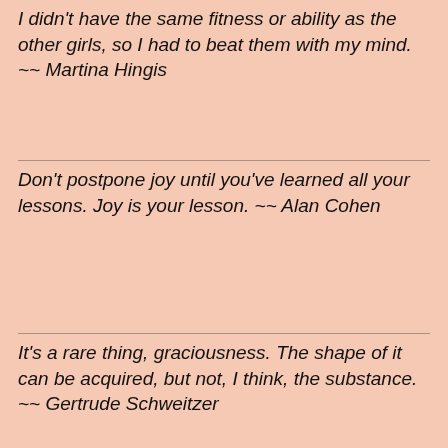I didn't have the same fitness or ability as the other girls, so I had to beat them with my mind. ~~ Martina Hingis
Don't postpone joy until you've learned all your lessons.  Joy is your lesson. ~~ Alan Cohen
It's a rare thing, graciousness.  The shape of it can be acquired, but not, I think, the substance. ~~ Gertrude Schweitzer